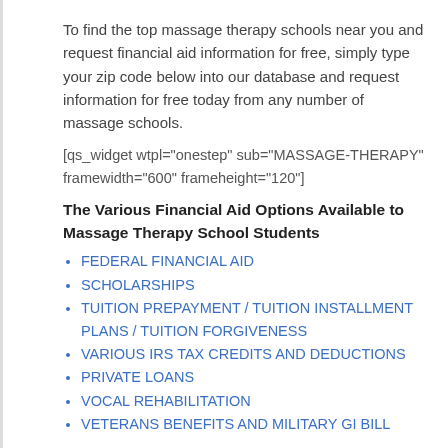To find the top massage therapy schools near you and request financial aid information for free, simply type your zip code below into our database and request information for free today from any number of massage schools.
[qs_widget wtpl="onestep" sub="MASSAGE-THERAPY" framewidth="600" frameheight="120"]
The Various Financial Aid Options Available to Massage Therapy School Students
FEDERAL FINANCIAL AID
SCHOLARSHIPS
TUITION PREPAYMENT / TUITION INSTALLMENT PLANS / TUITION FORGIVENESS
VARIOUS IRS TAX CREDITS AND DEDUCTIONS
PRIVATE LOANS
VOCAL REHABILITATION
VETERANS BENEFITS AND MILITARY GI BILL